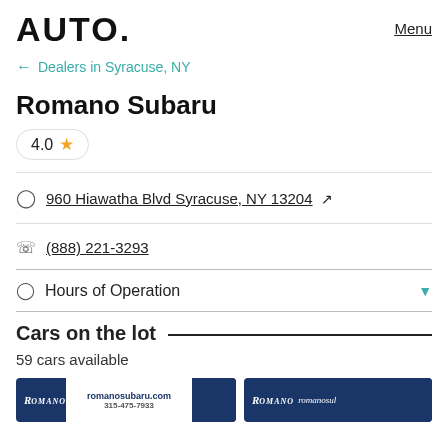AUTO.   Menu
← Dealers in Syracuse, NY
Romano Subaru
4.0 ★
960 Hiawatha Blvd Syracuse, NY 13204 ↗
(888) 221-3293
Hours of Operation
Cars on the lot
59 cars available